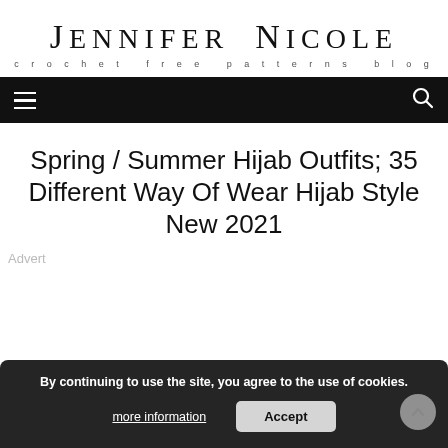JENNIFER NICOLE
crochet free patterns blog
[Figure (screenshot): Navigation bar with hamburger menu icon on the left and search icon on the right, black background]
Spring / Summer Hijab Outfits; 35 Different Way Of Wear Hijab Style New 2021
Advert
By continuing to use the site, you agree to the use of cookies.
more information   Accept